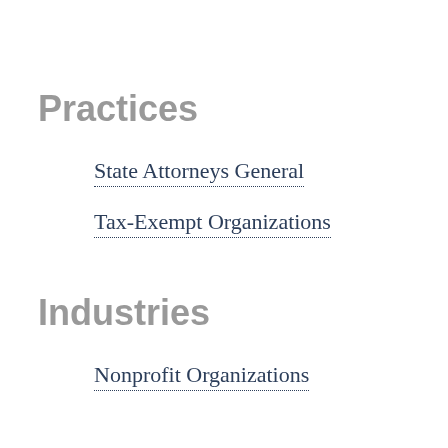Practices
State Attorneys General
Tax-Exempt Organizations
Industries
Nonprofit Organizations